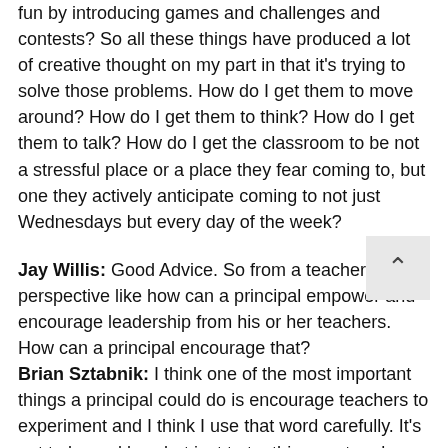fun by introducing games and challenges and contests? So all these things have produced a lot of creative thought on my part in that it's trying to solve those problems. How do I get them to move around? How do I get them to think? How do I get them to talk? How do I get the classroom to be not a stressful place or a place they fear coming to, but one they actively anticipate coming to not just Wednesdays but every day of the week?
Jay Willis: Good Advice. So from a teacher perspective like how can a principal empower and encourage leadership from his or her teachers. How can a principal encourage that?
Brian Sztabnik: I think one of the most important things a principal could do is encourage teachers to experiment and I think I use that word carefully. It's not to be reckless but just to try things out and see how they go. And I think what principals need to do is twofold, after they encourage teachers to be experimental to either give them the feedback they need they know what might have worked, what might've gone wrong and the other thing is to be supportive, it's to build that culture where